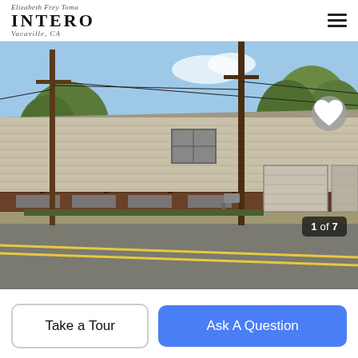INTERO Vacaville, CA
[Figure (photo): Street-level exterior photo of a large single-story commercial/industrial metal-sided building with a covered porch area and garage doors on the right, with utility poles and trees in the background and a road in the foreground.]
1 of 7
Take a Tour
Ask A Question